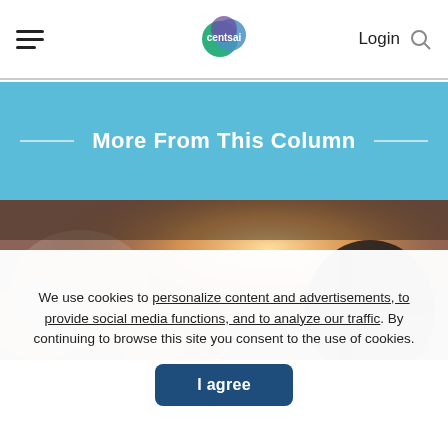CentSai — Login
More From This Column
[Figure (photo): Close-up of a person's hand gripping a car steering wheel, with warm sunlight in the background]
We use cookies to personalize content and advertisements, to provide social media functions, and to analyze our traffic. By continuing to browse this site you consent to the use of cookies.
I agree